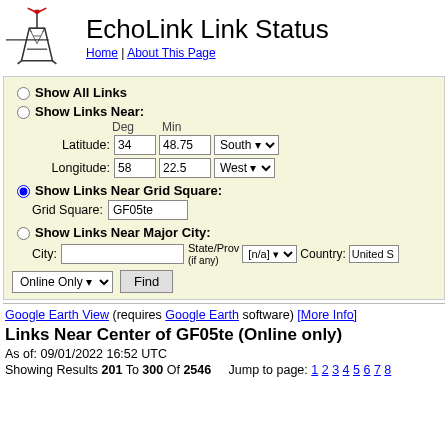EchoLink Link Status
Home | About This Page
Show All Links
Show Links Near:
Latitude: 34 Deg 48.75 Min South
Longitude: 58 Deg 22.5 Min West
Show Links Near Grid Square:
Grid Square: GF05te
Show Links Near Major City:
City: [blank] State/Prov (if any): [n/a] Country: United S...
Google Earth View (requires Google Earth software) [More Info]
Links Near Center of GF05te (Online only)
As of: 09/01/2022 16:52 UTC
Showing Results 201 To 300 Of 2546   Jump to page: 1 2 3 4 5 6 7 8